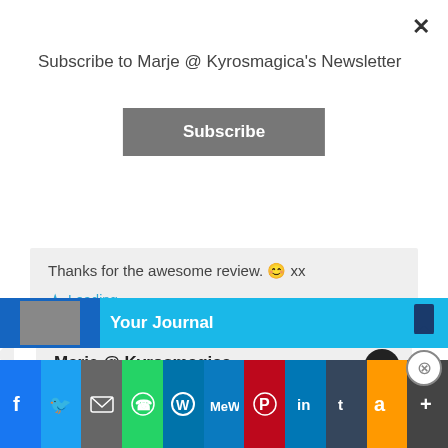Subscribe to Marje @ Kyrosmagica's Newsletter
Subscribe
Thanks for the awesome review. 😊 xx
Loading...
Marje @ Kyrosmagica
June 23, 2018 at 3:56 pm
This really moved me so I'd definitely recommend Vashti. 🙂
Loading
Advertisements
Your Journal
[Figure (screenshot): Social media sharing bar with icons for Facebook, Twitter, Email, WhatsApp, WordPress, MeWe, Pinterest, LinkedIn, Tumblr, Amazon, and More (plus button)]